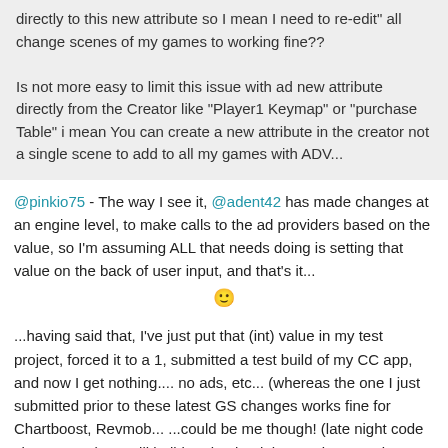directly to this new attribute so I mean I need to re-edit all change scenes of my games to working fine??

Is not more easy to limit this issue with ad new attribute directly from the Creator like "Player1 Keymap" or "purchase Table" i mean You can create a new attribute in the creator not a single scene to add to all my games with ADV...
@pinkio75 - The way I see it, @adent42 has made changes at an engine level, to make calls to the ad providers based on the value, so I'm assuming ALL that needs doing is setting that value on the back of user input, and that's it...
🙂
...having said that, I've just put that (int) value in my test project, forced it to a 1, submitted a test build of my CC app, and now I get nothing.... no ads, etc... (whereas the one I just submitted prior to these latest GS changes works fine for Chartboost, Revmob... ...could be me though! (late night code changes etc), so will build and upload the previous version (that worked beautifully) again and submit it when I get home...